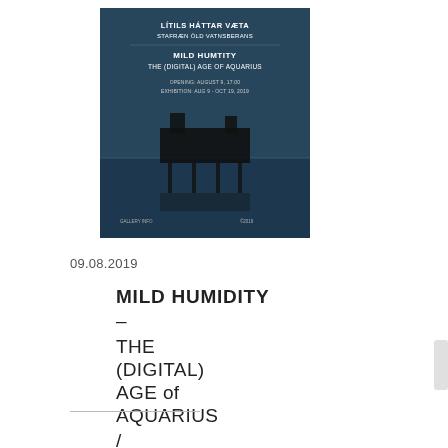[Figure (illustration): A small exhibition poster thumbnail showing a dark blue moody image of a structure over water, with text 'LÍTILS HÁTTAR VÆTA STAFRÆN ÖLD VATNSBERANS', 'MILD HUMITY THE (DIGITAL) AGE OF AQUARIUS' in white text on the poster.]
09.08.2019
MILD HUMIDITY
–
THE
(DIGITAL)
AGE of
AQUARIUS
/
LÍTILSHÁTTAR
VÆTA
–
STAFRÆN
ÖLD
VATNSBERANS